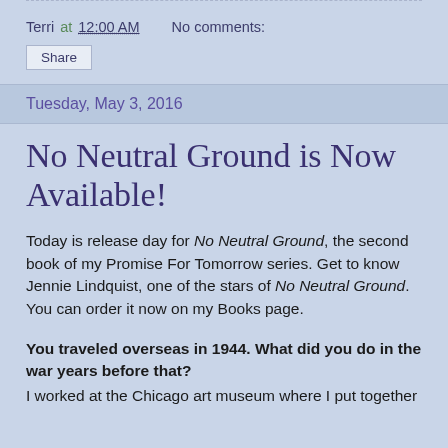Terri at 12:00 AM   No comments:
Share
Tuesday, May 3, 2016
No Neutral Ground is Now Available!
Today is release day for No Neutral Ground, the second book of my Promise For Tomorrow series. Get to know Jennie Lindquist, one of the stars of No Neutral Ground. You can order it now on my Books page.
You traveled overseas in 1944. What did you do in the war years before that?
I worked at the Chicago art museum where I put together